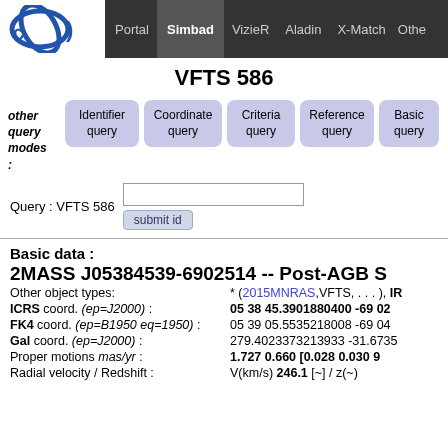Portal | Simbad | VizieR | Aladin | X-Match | Other
VFTS 586
other query modes: Identifier query | Coordinate query | Criteria query | Reference query | Basic query
Query : VFTS 586  [text input]  submit id
Basic data :
2MASS J05384539-6902514 -- Post-AGB S
Other object types: * (2015MNRAS, VFTS, . . . ), IR
ICRS coord. (ep=J2000) : 05 38 45.3901880400 -69 02
FK4 coord. (ep=B1950 eq=1950) : 05 39 05.5535218008 -69 04
Gal coord. (ep=J2000) : 279.4023373213933 -31.6735
Proper motions mas/yr : 1.727 0.660 [0.028 0.030 9
Radial velocity / Redshift: V(km/s) 246.1 [~] / z(~)